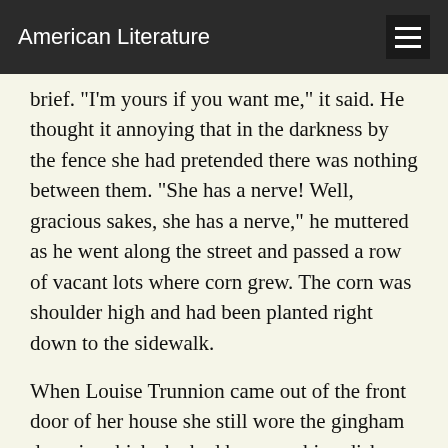American Literature
brief. "I'm yours if you want me," it said. He thought it annoying that in the darkness by the fence she had pretended there was nothing between them. "She has a nerve! Well, gracious sakes, she has a nerve," he muttered as he went along the street and passed a row of vacant lots where corn grew. The corn was shoulder high and had been planted right down to the sidewalk.
When Louise Trunnion came out of the front door of her house she still wore the gingham dress in which she had been washing dishes. There was no hat on her head. The boy could see her standing with the doorknob in her hand talking to someone within, no